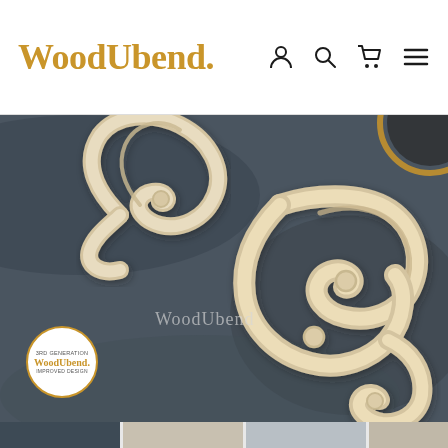WoodUbend. [navigation icons: user, search, cart, menu]
[Figure (photo): Close-up photo of cream/beige decorative wood scroll ornaments (acanthus/baroque style) lying on a dark grey-blue slate surface. Two scroll pieces are visible. A watermark reading 'WoodUbend.' appears in the center of the image. A circular badge in the lower-left reads '3RD GENERATION WoodUbend. IMPROVED DESIGN'.]
[Figure (photo): Thumbnail strip at the bottom showing partial product images]